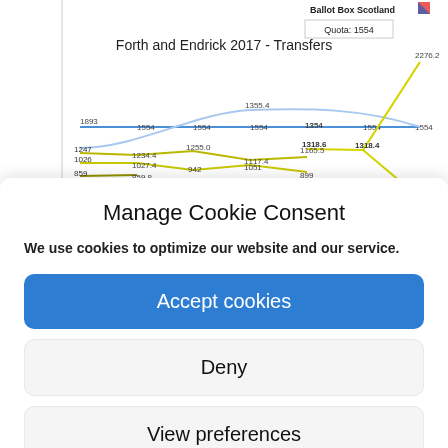[Figure (line-chart): Line chart showing vote transfers in Forth and Endrick 2017 election with quota line at 1554. Multiple lines showing candidate tallies across counting rounds. Values range from ~859 to 2276.2.]
Manage Cookie Consent
We use cookies to optimize our website and our service.
Accept cookies
Deny
View preferences